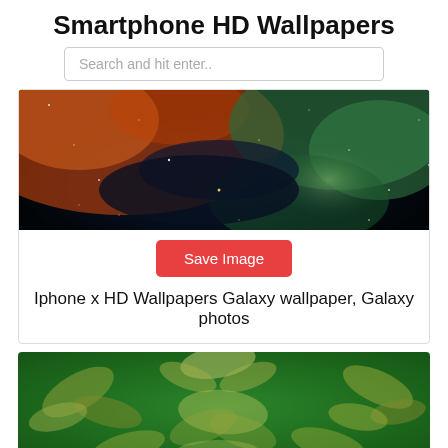Smartphone HD Wallpapers
Search and hit enter..
[Figure (photo): Space/galaxy nebula photo with colorful cosmic clouds in orange, red, green, and blue/dark background with stars]
Save Image
Iphone x HD Wallpapers Galaxy wallpaper, Galaxy photos
[Figure (photo): Green textured fabric or velvet with cream/white floral and leaf pattern embossed on it]